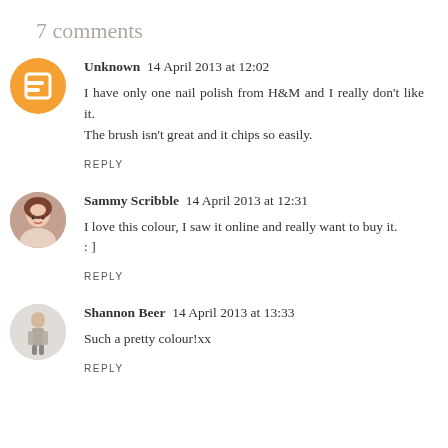7 comments
Unknown  14 April 2013 at 12:02
I have only one nail polish from H&M and I really don't like it. The brush isn't great and it chips so easily.
REPLY
Sammy Scribble  14 April 2013 at 12:31
I love this colour, I saw it online and really want to buy it.
: ]
REPLY
Shannon Beer  14 April 2013 at 13:33
Such a pretty colour!xx
REPLY